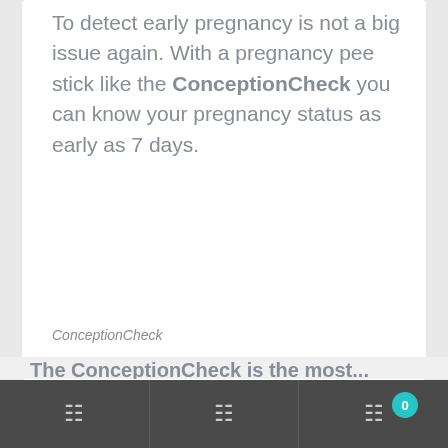To detect early pregnancy is not a big issue again. With a pregnancy pee stick like the ConceptionCheck you can know your pregnancy status as early as 7 days.
ConceptionCheck
Navigation bar with home, search, and cart icons. Cart shows badge: 0